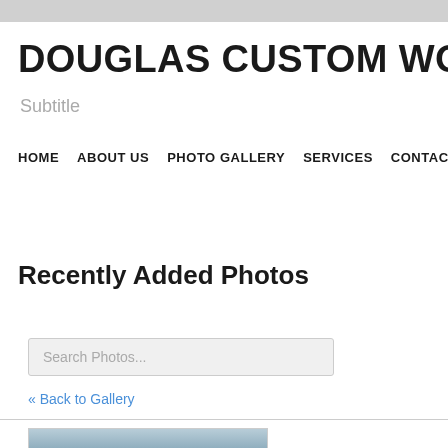DOUGLAS CUSTOM WOODWOR
Subtitle
HOME   ABOUT US   PHOTO GALLERY   SERVICES   CONTACT
Recently Added Photos
Search Photos...
« Back to Gallery
[Figure (photo): Partial view of a photo thumbnail at bottom of page]